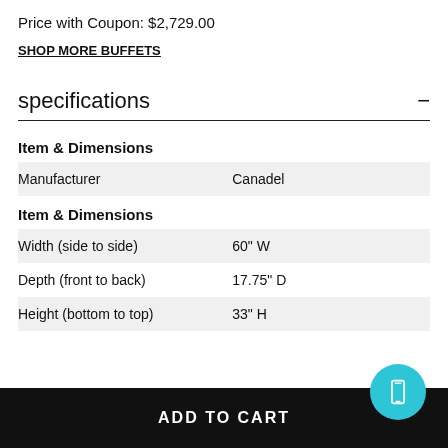Price with Coupon: $2,729.00
SHOP MORE BUFFETS
specifications
|  |  |
| --- | --- |
| Item & Dimensions |  |
| Manufacturer | Canadel |
| Item & Dimensions |  |
| Width (side to side) | 60" W |
| Depth (front to back) | 17.75" D |
| Height (bottom to top) | 33" H |
ADD TO CART